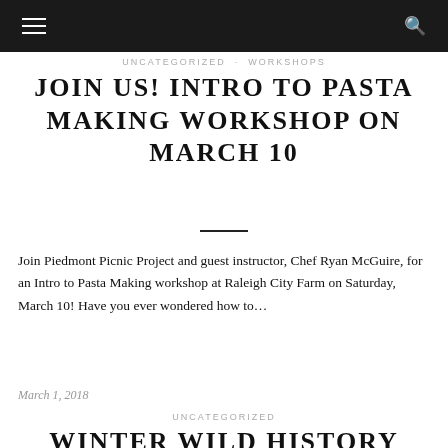UNCATEGORIZED · WORKSHOPS
JOIN US! INTRO TO PASTA MAKING WORKSHOP ON MARCH 10
Join Piedmont Picnic Project and guest instructor, Chef Ryan McGuire, for an Intro to Pasta Making workshop at Raleigh City Farm on Saturday, March 10! Have you ever wondered how to…
March 1, 2018
UNCATEGORIZED
WINTER WILD HISTORY